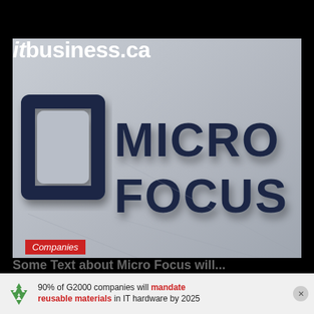[Figure (logo): ITbusiness.ca website header logo in white text on black background]
[Figure (photo): Close-up photo of Micro Focus company logo sign mounted on a wall — dark navy 3D letters spelling MICRO FOCUS with a square bracket icon to the left]
Companies
90% of G2000 companies will mandate reusable materials in IT hardware by 2025